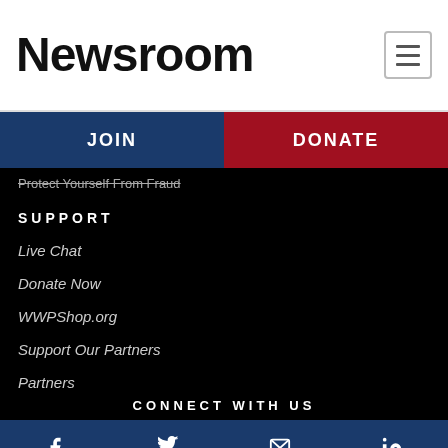Newsroom
JOIN
DONATE
Protect Yourself From Fraud
SUPPORT
Live Chat
Donate Now
WWPShop.org
Support Our Partners
Partners
CONNECT WITH US
[Figure (other): Social media icon bar with Facebook, Twitter, Email, and LinkedIn icons on dark blue background]